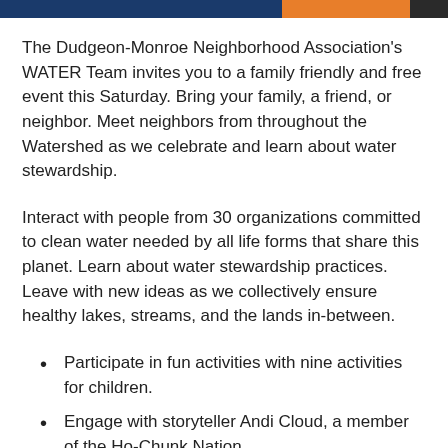[Figure (other): Header bar with blue, orange, and dark sections]
The Dudgeon-Monroe Neighborhood Association's WATER Team invites you to a family friendly and free event this Saturday. Bring your family, a friend, or neighbor. Meet neighbors from throughout the Watershed as we celebrate and learn about water stewardship.
Interact with people from 30 organizations committed to clean water needed by all life forms that share this planet. Learn about water stewardship practices. Leave with new ideas as we collectively ensure healthy lakes, streams, and the lands in-between.
Participate in fun activities with nine activities for children.
Engage with storyteller Andi Cloud, a member of the Ho-Chunk Nation...